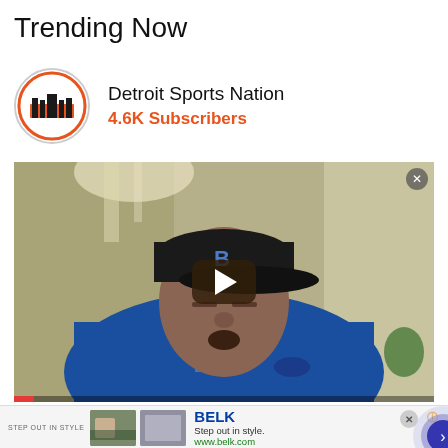Trending Now
Detroit Sports Nation
4.6K Subscribers
[Figure (screenshot): Video thumbnail showing a man wearing a blue sports jersey and dark cap with eyes closed, with a play button overlay. Video player with progress bar at bottom.]
[Figure (screenshot): Ad banner for BELK - Step out in style. www.belk.com with two small product thumbnail images and a forward arrow button.]